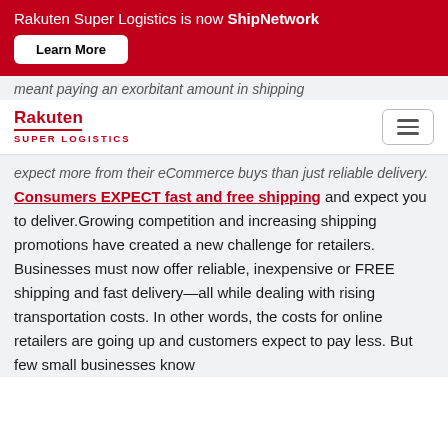Rakuten Super Logistics is now ShipNetwork — Learn More
meant paying an exorbitant amount in shipping
[Figure (logo): Rakuten Super Logistics logo with red text and hamburger menu icon]
expect more from their eCommerce buys than just reliable delivery. Consumers EXPECT fast and free shipping and expect you to deliver.Growing competition and increasing shipping promotions have created a new challenge for retailers. Businesses must now offer reliable, inexpensive or FREE shipping and fast delivery—all while dealing with rising transportation costs. In other words, the costs for online retailers are going up and customers expect to pay less. But few small businesses know